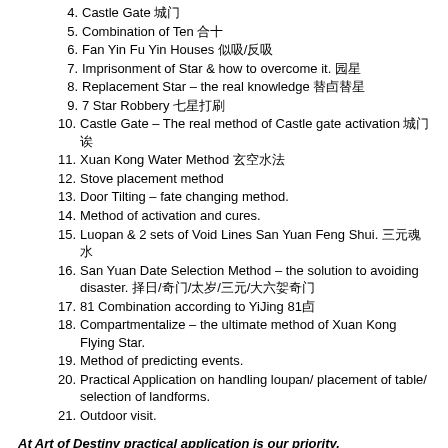4. Castle Gate 城門
5. Combination of Ten 合十
6. Fan Yin Fu Yin Houses 伏吟/反吟
7. Imprisonment of Star & how to overcome it. 囚星
8. Replacement Star – the real knowledge 替卦替星
9. 7 Star Robbery 七星打劫
10. Castle Gate – The real method of Castle gate activation 城門訣
11. Xuan Kong Water Method 玄空水法
12. Stove placement method
13. Door Tilting – fate changing method.
14. Method of activation and cures.
15. Luopan & 2 sets of Void Lines San Yuan Feng Shui. 三元風水
16. San Yuan Date Selection Method – the solution to avoiding disaster. 擇日/奇門/太歲/三元/大六壬奇門
17. 81 Combination according to YiJing 81卦
18. Compartmentalize – the ultimate method of Xuan Kong Flying Star.
19. Method of predicting events.
20. Practical Application on handling loupan/ placement of table/ selection of landforms.
21. Outdoor visit.
At Art of Destiny practical application is our priority.
Practical application is the core of Feng Shui study, not just classroom theory.
- Master Alan Chong